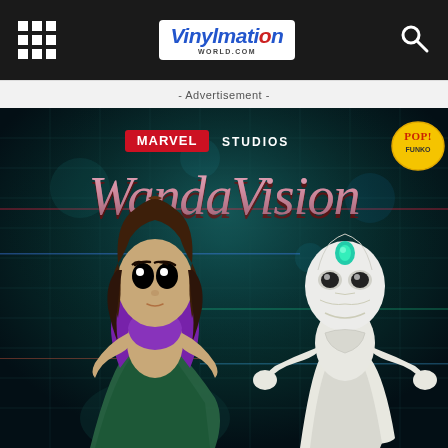Vinylmation World.com
- Advertisement -
[Figure (photo): Marvel Studios WandaVision Funko Pop promotional image showing two Funko Pop vinyl figures: Wanda (Scarlet Witch) in a purple and teal outfit with brown hair, and Vision in white android form with teal gem, set against a dark teal glitchy digital background with the WandaVision logo and Funko Pop logo]